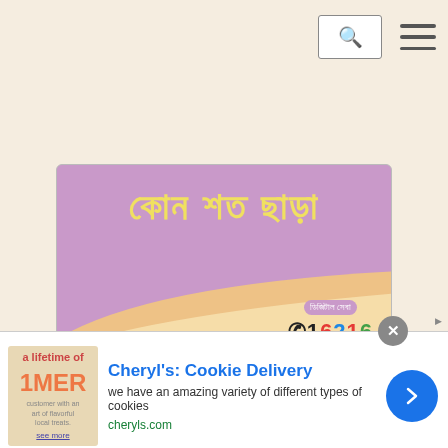Search and navigation header
[Figure (illustration): Advertisement banner with purple background showing Bengali text in yellow and a phone number 16216 at bottom right, with a wave graphic in cream/yellow]
[Figure (illustration): Bottom advertisement for Cheryl's Cookie Delivery with image of cookies, blue title text, description and cheryls.com URL, with blue arrow button]